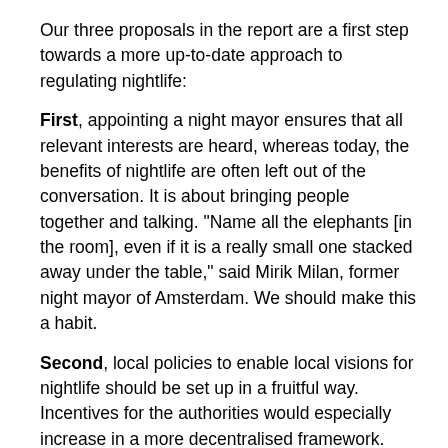Our three proposals in the report are a first step towards a more up-to-date approach to regulating nightlife:
First, appointing a night mayor ensures that all relevant interests are heard, whereas today, the benefits of nightlife are often left out of the conversation. It is about bringing people together and talking. "Name all the elephants [in the room], even if it is a really small one stacked away under the table," said Mirik Milan, former night mayor of Amsterdam. We should make this a habit.
Second, local policies to enable local visions for nightlife should be set up in a fruitful way. Incentives for the authorities would especially increase in a more decentralised framework. Cities that have a direct interest in their longterm economic wellbeing may think twice before implementing lockout laws to restrict the nightlife. Whatever strategy councils choose, they should be accountable to sound processes to ensure everyone is heard. At the same time, appeals processes have to be reassessed to make sure they stop being endless lawsuits.
Third, issues of public health should be tackled with specific